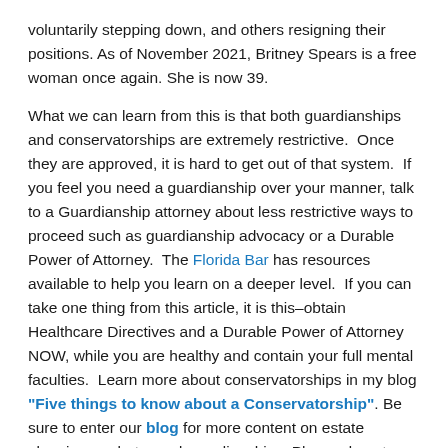voluntarily stepping down, and others resigning their positions. As of November 2021, Britney Spears is a free woman once again. She is now 39.
What we can learn from this is that both guardianships and conservatorships are extremely restrictive. Once they are approved, it is hard to get out of that system. If you feel you need a guardianship over your manner, talk to a Guardianship attorney about less restrictive ways to proceed such as guardianship advocacy or a Durable Power of Attorney. The Florida Bar has resources available to help you learn on a deeper level. If you can take one thing from this article, it is this–obtain Healthcare Directives and a Durable Power of Attorney NOW, while you are healthy and contain your full mental faculties. Learn more about conservatorships in my blog "Five things to know about a Conservatorship". Be sure to enter our blog for more content on estate planning, probate, and guardianships. Please do not hesitate to contact our office for any estate planning needs.